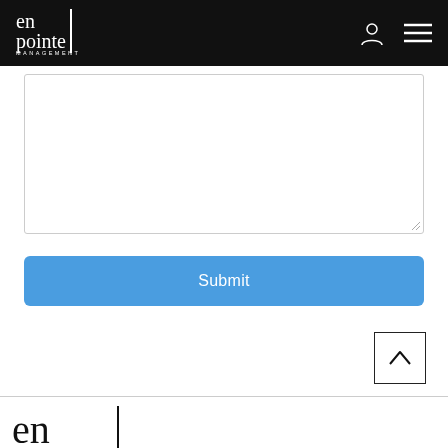En Pointe Management — navigation header with logo, user icon, and hamburger menu
[Figure (screenshot): Text area input field (empty, resizable)]
Submit
[Figure (other): Back to top button — square with upward chevron arrow]
[Figure (logo): En Pointe Management logo (large, footer version)]